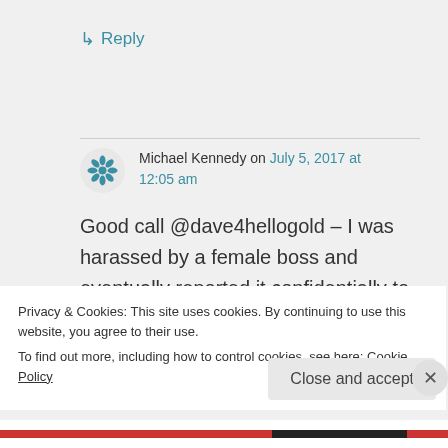↳ Reply
Michael Kennedy on July 5, 2017 at 12:05 am
Good call @dave4hellogold – I was harassed by a female boss and eventually reported it confidentially to the relevant (all male) committee in my workplace. They laughed their
Privacy & Cookies: This site uses cookies. By continuing to use this website, you agree to their use.
To find out more, including how to control cookies, see here: Cookie Policy
Close and accept